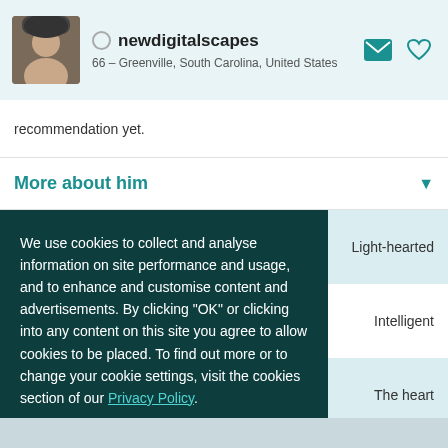newdigitalscapes
66 – Greenville, South Carolina, United States
recommendation yet.
More about him
We use cookies to collect and analyse information on site performance and usage, and to enhance and customise content and advertisements. By clicking "OK" or clicking into any content on this site you agree to allow cookies to be placed. To find out more or to change your cookie settings, visit the cookies section of our Privacy Policy.
Light-hearted
Intelligent
The heart
average mingler